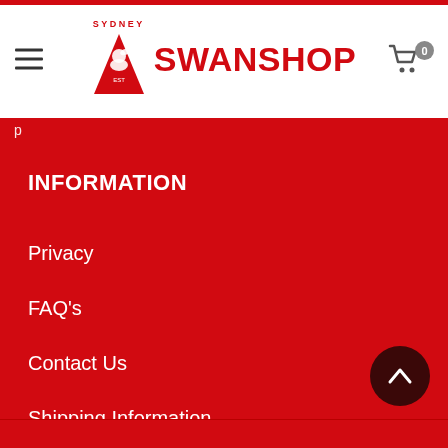[Figure (logo): Sydney Swanshop logo with red triangle containing a swan, SYDNEY text above, and SWANSHOP text to the right in bold red]
SYDNEY SWANSHOP — header with hamburger menu, logo, and cart icon showing 0 items
INFORMATION
Privacy
FAQ's
Contact Us
Shipping Information
About Zip